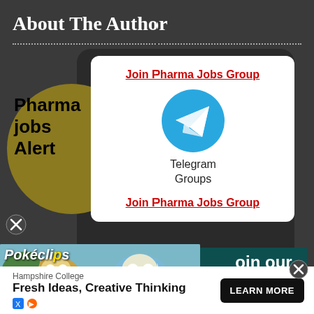About The Author
[Figure (screenshot): Popup card with Telegram Groups icon and two 'Join Pharma Jobs Group' red underlined links on white card background]
[Figure (screenshot): WhatsApp group banner with teal background saying 'oin our hatsApp Group' (partially visible)]
[Figure (screenshot): PokéClip Super League animated advertisement banner with cartoon Pokemon characters]
[Figure (screenshot): Red circle X close button]
[Figure (screenshot): Hampshire College 'Fresh Ideas, Creative Thinking' LEARN MORE advertisement bar at bottom]
comment
data e.g. if